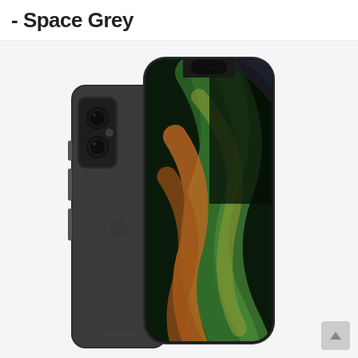- Space Grey
[Figure (photo): Apple iPhone XS Max in Space Grey color, shown from the back and front. The back of the phone is dark grey/space grey with a dual camera system visible. The front displays a colorful swirling marble/liquid-like wallpaper in green, orange, purple and blue tones on the OLED display with thin bezels.]